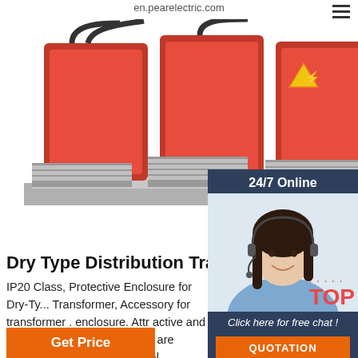en.pearelectric.com
[Figure (photo): Red dry-type distribution transformer on metal base frame, three-phase, large industrial unit with silver/grey cooling fins and black cable connections on top, warning label visible]
24/7 Online
[Figure (photo): Customer service agent - woman with dark hair wearing headset, smiling, in light blue shirt]
Click here for free chat !
QUOTATION
Dry Type Distribution Transformer Parts D...
IP20 Class, Protective Enclosure for Dry-Ty... Transformer, Accessory for transformer . enclosure. Attr active and wearing-resista... enclosures are available to provide additional protection to transformer, and the protection level could be IP20, IP23 or higher.. The material is stainless steel plate, aluminum alloy plate and other suitable materials.
Get Price